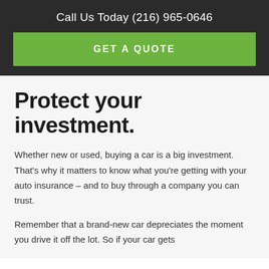Call Us Today (216) 965-0646
GET A QUOTE
Protect your investment.
Whether new or used, buying a car is a big investment. That's why it matters to know what you're getting with your auto insurance – and to buy through a company you can trust.
Remember that a brand-new car depreciates the moment you drive it off the lot. So if your car gets